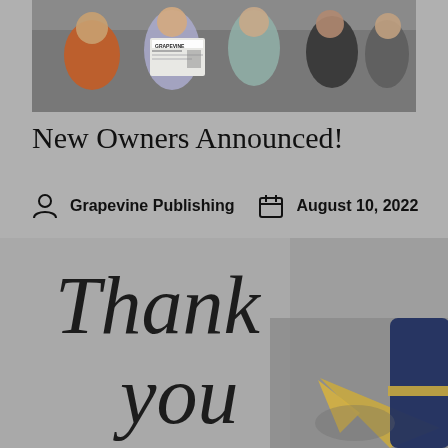[Figure (photo): Group of people standing together, one holding a Grapevine newspaper/magazine]
New Owners Announced!
Grapevine Publishing   August 10, 2022
[Figure (photo): Handwritten 'Thank you' in cursive calligraphy script with a fountain pen visible in the lower right corner, on a gray background]